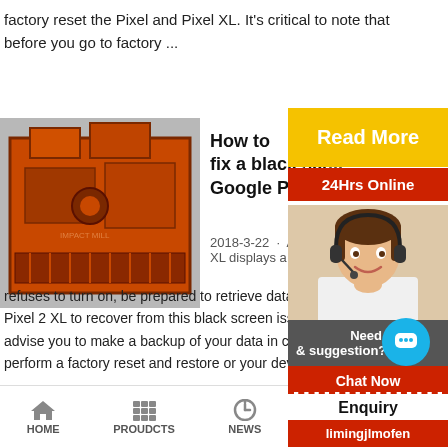factory reset the Pixel and Pixel XL. It’s critical to note that before you go to factory ...
[Figure (photo): Orange industrial crusher/impact mill machine]
How to fix a black screen Google Pixel 2
2018-3-22 · As you... XL displays a black...
refuses to turn on, be prepared to retrieve data fr... Pixel 2 XL to recover from this black screen issue... advise you to make a backup of your data in case... perform a factory reset and restore or your device...
Read More
24Hrs Online
[Figure (photo): Customer service agent woman with headset smiling]
Need qu... & suggestion?
Chat Now
Enquiry
limingjlmofen
HOME   PROUDCTS   NEWS